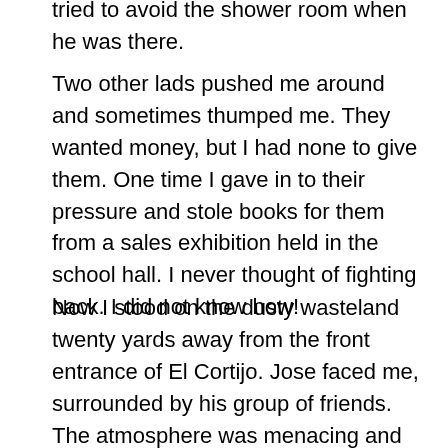tried to avoid the shower room when he was there.
Two other lads pushed me around and sometimes thumped me. They wanted money, but I had none to give them. One time I gave in to their pressure and stole books for them from a sales exhibition held in the school hall. I never thought of fighting back. I did not know how!
Now I stood on the dusty wasteland twenty yards away from the front entrance of El Cortijo. Jose faced me, surrounded by his group of friends. The atmosphere was menacing and none of my friends were even aware what had happened.